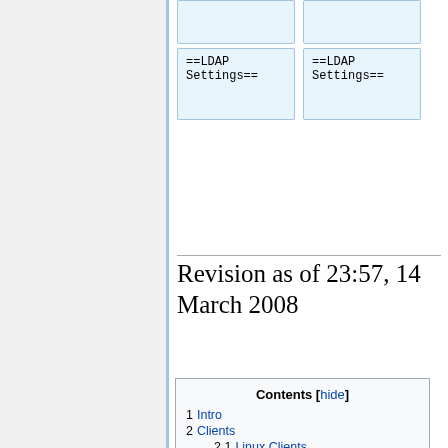[Figure (screenshot): Top portion showing two rows of wiki editor boxes: one row with two empty light-blue boxes, and one row with two boxes containing '==LDAP Settings==' in monospace font]
Revision as of 23:57, 14 March 2008
| Contents [hide] |
| --- |
| 1  Intro |
| 2  Clients |
| 2.1  Linux Clients |
| 2.2  Email Clients |
| 2.3  Windows Clients |
| 3  Example LDAP Commands |
| 4  LDAP Settings |
| 4.1  Debian LDAP VM |
| 4.2  SUSE Test |
| 5  Multimaster Replication |